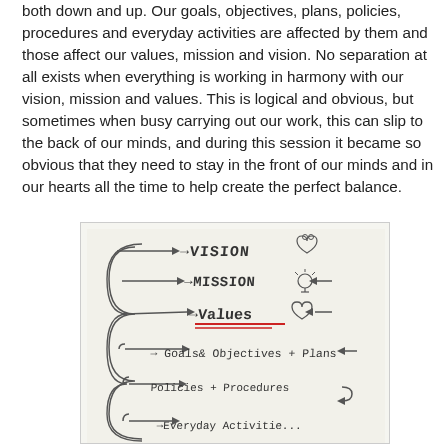both down and up. Our goals, objectives, plans, policies, procedures and everyday activities are affected by them and those affect our values, mission and vision. No separation at all exists when everything is working in harmony with our vision, mission and values. This is logical and obvious, but sometimes when busy carrying out our work, this can slip to the back of our minds, and during this session it became so obvious that they need to stay in the front of our minds and in our hearts all the time to help create the perfect balance.
[Figure (other): Hand-drawn diagram showing hierarchical levels connected by looping arrows: VISION (with heart), MISSION (with lightbulb), Values (with heart, underlined in red), Goals & Objectives & Plans, Policies + Procedures, Everyday Activities]